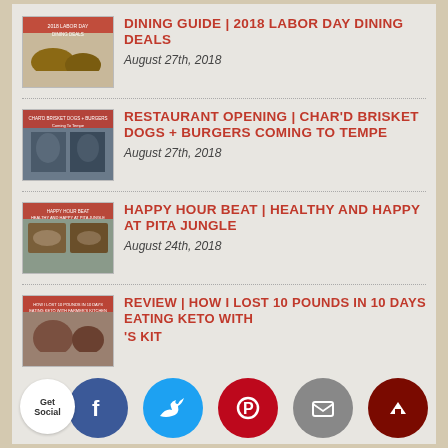DINING GUIDE | 2018 LABOR DAY DINING DEALS — August 27th, 2018
RESTAURANT OPENING | CHAR'D BRISKET DOGS + BURGERS COMING TO TEMPE — August 27th, 2018
HAPPY HOUR BEAT | HEALTHY AND HAPPY AT PITA JUNGLE — August 24th, 2018
REVIEW | HOW I LOST 10 POUNDS IN 10 DAYS EATING KETO WITH [S KIT...] — August 20th, 2018